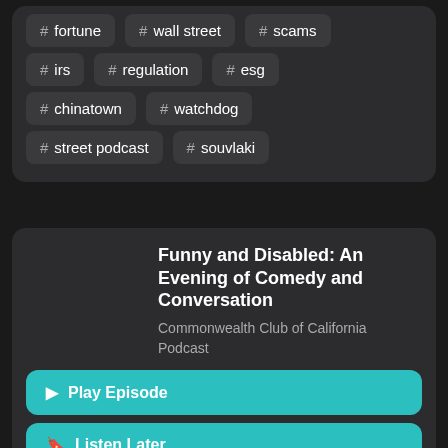# fortune
# wall street
# scams
# irs
# regulation
# esg
# chinatown
# watchdog
# street podcast
# souvlaki
Funny and Disabled: An Evening of Comedy and Conversation
Commonwealth Club of California
Podcast
[Figure (logo): Commonwealth Club of California podcast logo with blue sunburst rays and yellow arc on white background]
▶ Play Episode
🔖 Listen Later